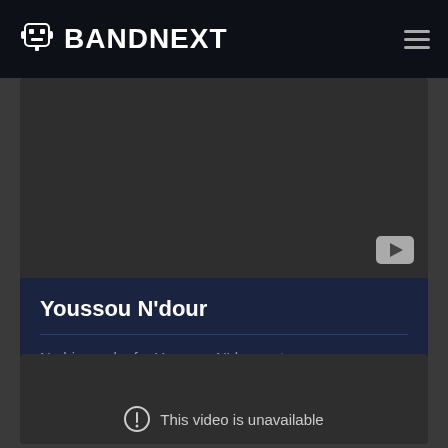BANDNEXT
[Figure (screenshot): Dark video thumbnail area with YouTube play button in bottom right corner]
Youssou N'dour
No biography for Youssou N'dour yet.
[Figure (screenshot): Dark video player area showing 'This video is unavailable' message with exclamation icon]